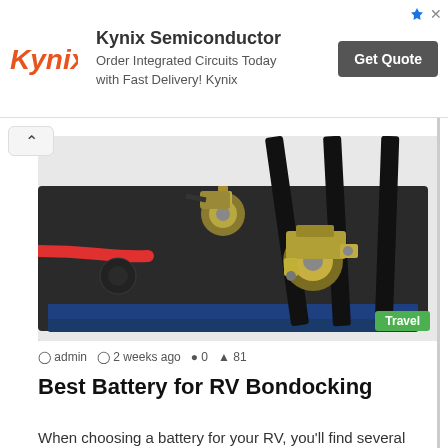[Figure (screenshot): Kynix Semiconductor advertisement banner with orange Kynix logo, headline 'Kynix Semiconductor', subtext 'Order Integrated Circuits Today with Fast Delivery! Kynix', and a dark 'Get Quote' button. Small ad icon and X in top-right corner.]
[Figure (photo): Close-up photograph of a car/RV battery top showing gold/brass battery terminals with cable connectors. A red cable enters from the left. Black straps run over the dark battery case. Background is white. A green 'Travel' badge appears in the bottom-right corner of the photo.]
admin  2 weeks ago  0  81
Best Battery for RV Bondocking
When choosing a battery for your RV, you'll find several options, such as Lithium-ion batteries, absorbent glass mat batteries, and...